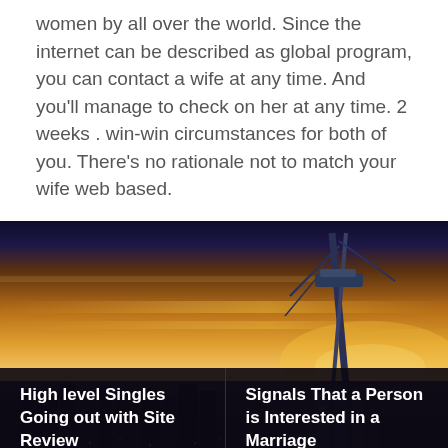women by all over the world. Since the internet can be described as global program, you can contact a wife at any time. And you'll manage to check on her at any time. 2 weeks . win-win circumstances for both of you. There's no rationale not to match your wife web based.
[Figure (photo): Aerial cityscape at sunset with a tall tower/spire structure visible on the right side, golden and blue sky tones, city lights below]
High level Singles Going out with Site Review
Signals That a Person is Interested in a Marriage
Продвижение сайтов по всему Казахстану. Продвижение сайта в любом городе мира. Расширь